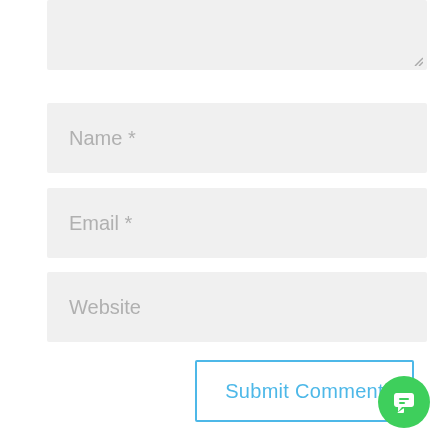[Figure (screenshot): A comment form UI showing a textarea (partially visible at top), three input fields labeled Name *, Email *, and Website, a Submit Comment button with blue border, and a green chat widget button in the bottom right corner.]
Name *
Email *
Website
Submit Comment